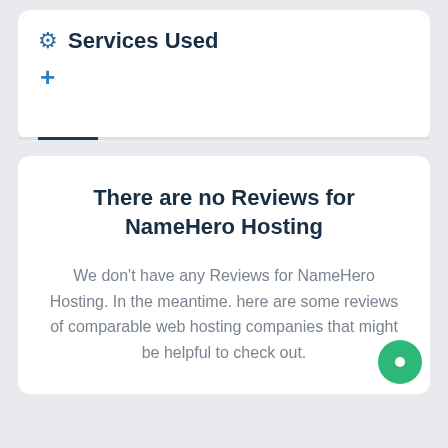⚙ Services Used
+
There are no Reviews for NameHero Hosting
We don't have any Reviews for NameHero Hosting. In the meantime. here are some reviews of comparable web hosting companies that might be helpful to check out.